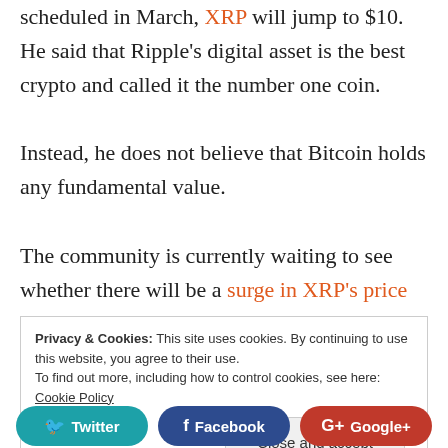scheduled in March, XRP will jump to $10. He said that Ripple's digital asset is the best crypto and called it the number one coin.

Instead, he does not believe that Bitcoin holds any fundamental value.

The community is currently waiting to see whether there will be a surge in XRP's price after it got listed on Coinbase.com.
Privacy & Cookies: This site uses cookies. By continuing to use this website, you agree to their use.
To find out more, including how to control cookies, see here: Cookie Policy
Close and accept
Twitter   Facebook   Google+